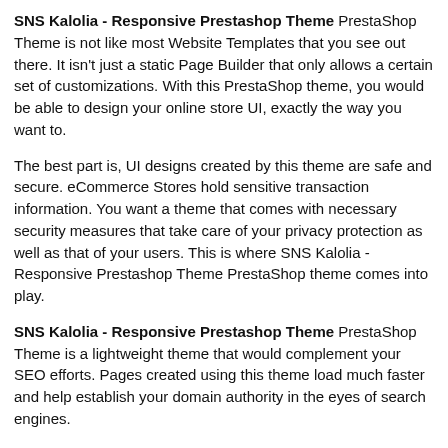SNS Kalolia - Responsive Prestashop Theme PrestaShop Theme is not like most Website Templates that you see out there. It isn't just a static Page Builder that only allows a certain set of customizations. With this PrestaShop theme, you would be able to design your online store UI, exactly the way you want to.
The best part is, UI designs created by this theme are safe and secure. eCommerce Stores hold sensitive transaction information. You want a theme that comes with necessary security measures that take care of your privacy protection as well as that of your users. This is where SNS Kalolia - Responsive Prestashop Theme PrestaShop theme comes into play.
SNS Kalolia - Responsive Prestashop Theme PrestaShop Theme is a lightweight theme that would complement your SEO efforts. Pages created using this theme load much faster and help establish your domain authority in the eyes of search engines.
SNS Kalolia - Responsive Prestashop Theme  is developed by Themeforest (Known & Good Developer)
If you want more information about this product, visit the main...